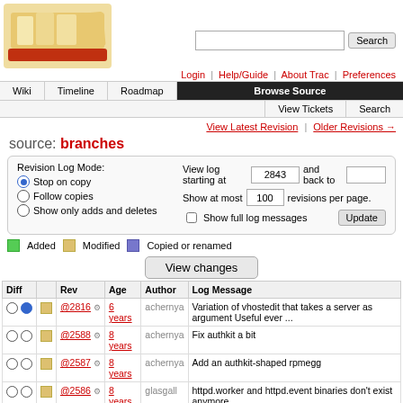[Figure (logo): Trac bread/basket logo image]
Login | Help/Guide | About Trac | Preferences
Wiki | Timeline | Roadmap | Browse Source | View Tickets | Search
View Latest Revision | Older Revisions →
source: branches
Revision Log Mode: Stop on copy / Follow copies / Show only adds and deletes. View log starting at 2843 and back to. Show at most 100 revisions per page. Show full log messages. Update.
Added   Modified   Copied or renamed
View changes
| Diff |  | Rev | Age | Author | Log Message |
| --- | --- | --- | --- | --- | --- |
| ○ ● | □ | @2816 ⚙ | 6 years | achernya | Variation of vhostedit that takes a server as argument Useful ever ... |
| ○ ○ | □ | @2588 ⚙ | 8 years | achernya | Fix authkit a bit |
| ○ ○ | □ | @2587 ⚙ | 8 years | achernya | Add an authkit-shaped rpmegg |
| ○ ○ | □ | @2586 ⚙ | 8 years | glasgall | httpd.worker and httpd.event binaries don't exist anymore |